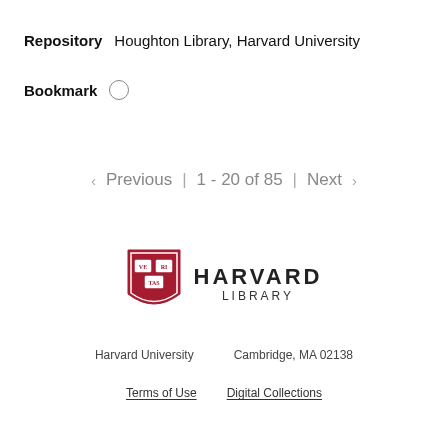Repository   Houghton Library, Harvard University
Bookmark  ○
< Previous | 1 - 20 of 85 | Next >
[Figure (logo): Harvard Library logo with crimson shield bearing VE RI TAS and text HARVARD LIBRARY]
Harvard University   Cambridge, MA 02138
Terms of Use   Digital Collections